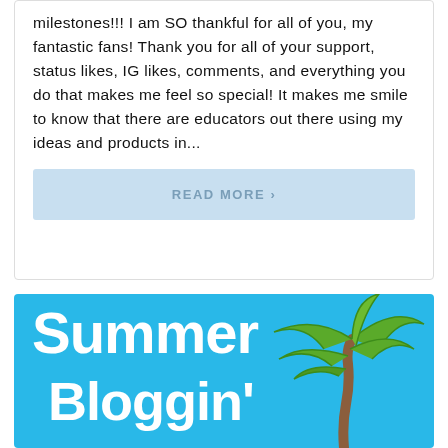milestones!!! I am SO thankful for all of you, my fantastic fans! Thank you for all of your support, status likes, IG likes, comments, and everything you do that makes me feel so special! It makes me smile to know that there are educators out there using my ideas and products in...
READ MORE ›
[Figure (illustration): Blue background graphic with large white handwritten-style text reading 'Summer Bloggin'' with a cartoon palm tree illustration in the upper right corner with green leaves and brown trunk.]